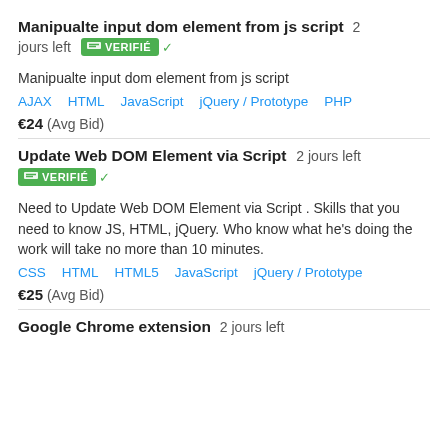Manipualte input dom element from js script  2 jours left  VERIFIÉ
Manipualte input dom element from js script
AJAX  HTML  JavaScript  jQuery / Prototype  PHP
€24  (Avg Bid)
Update Web DOM Element via Script  2 jours left  VERIFIÉ
Need to Update Web DOM Element via Script . Skills that you need to know JS, HTML, jQuery. Who know what he's doing the work will take no more than 10 minutes.
CSS  HTML  HTML5  JavaScript  jQuery / Prototype
€25  (Avg Bid)
Google Chrome extension  2 jours left